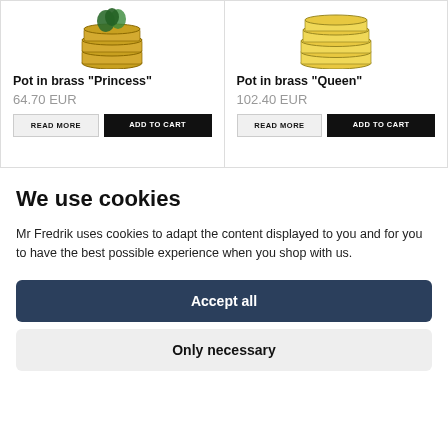[Figure (photo): Pot in brass Princess product image - stacked brass coasters with plant]
Pot in brass "Princess"
64.70 EUR
[Figure (photo): Pot in brass Queen product image - stacked gold rings]
Pot in brass "Queen"
102.40 EUR
We use cookies
Mr Fredrik uses cookies to adapt the content displayed to you and for you to have the best possible experience when you shop with us.
Accept all
Only necessary